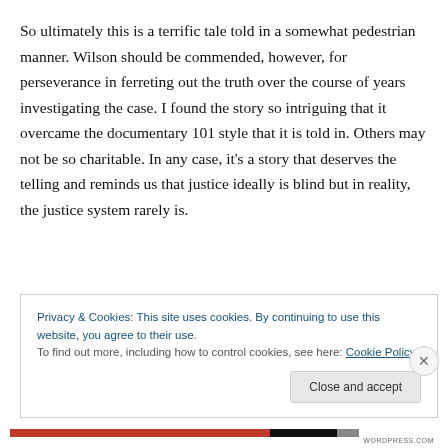So ultimately this is a terrific tale told in a somewhat pedestrian manner. Wilson should be commended, however, for perseverance in ferreting out the truth over the course of years investigating the case. I found the story so intriguing that it overcame the documentary 101 style that it is told in. Others may not be so charitable. In any case, it's a story that deserves the telling and reminds us that justice ideally is blind but in reality, the justice system rarely is.
Privacy & Cookies: This site uses cookies. By continuing to use this website, you agree to their use.
To find out more, including how to control cookies, see here: Cookie Policy